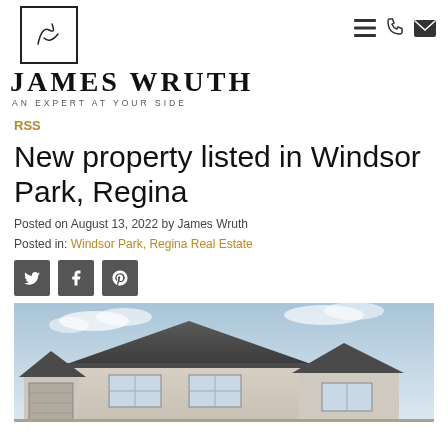JAMES WRUTH — AN EXPERT AT YOUR SIDE
RSS
New property listed in Windsor Park, Regina
Posted on August 13, 2022 by James Wruth
Posted in: Windsor Park, Regina Real Estate
[Figure (other): Social share buttons: Twitter, Facebook, Pinterest]
[Figure (photo): Exterior photo of a residential house with stucco siding and peaked roofline under a partly cloudy sky]